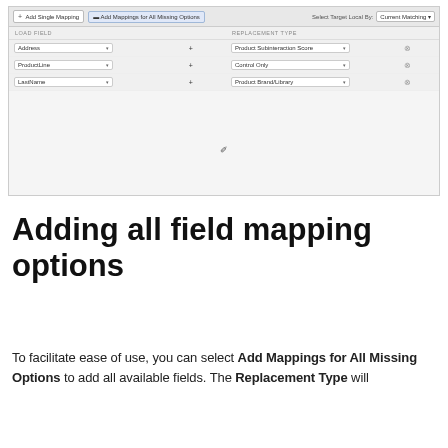[Figure (screenshot): A UI screenshot showing a field mapping interface with a toolbar containing '+ Add Single Mapping' and 'Add Mappings for All Missing Options' buttons, and rows mapping Address, ProductLine, and LastName fields to replacement types (Product Subinteraction Score, Control Only, Product Brand/Library). Empty grey area below with cursor.]
Adding all field mapping options
To facilitate ease of use, you can select Add Mappings for All Missing Options to add all available fields. The Replacement Type will